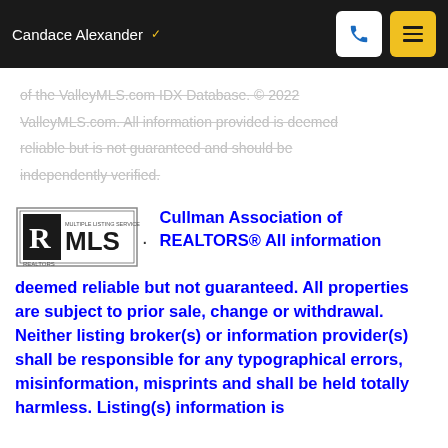Candace Alexander
of the ValleyMLS.com IDX Database. © 2022 ValleyMLS.com. All information provided is deemed reliable but is not guaranteed and should be independently verified.
[Figure (logo): REALTORS MLS logo]
Cullman Association of REALTORS® All information deemed reliable but not guaranteed. All properties are subject to prior sale, change or withdrawal. Neither listing broker(s) or information provider(s) shall be responsible for any typographical errors, misinformation, misprints and shall be held totally harmless. Listing(s) information is